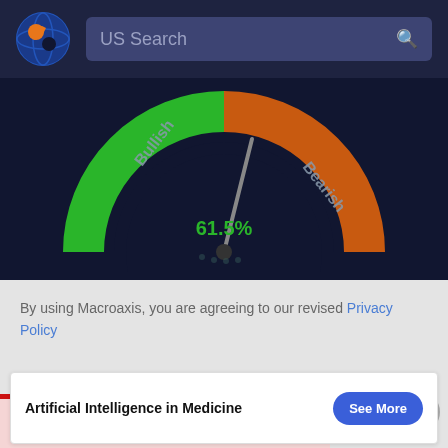[Figure (logo): Macroaxis globe logo with orange and dark blue colors]
US Search
[Figure (other): Semicircular gauge chart showing 61.5% bullish/bearish indicator. Left half is green labeled Bullish, right half is orange labeled Bearish. Needle points slightly right of center toward bearish. Value shown: 61.5%]
By using Macroaxis, you are agreeing to our revised Privacy Policy
OK
Artificial Intelligence in Medicine
See More